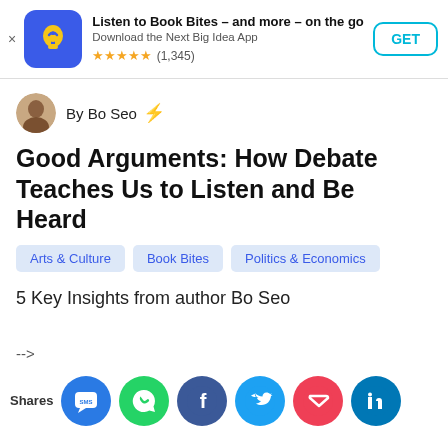[Figure (infographic): App advertisement banner with blue icon featuring yellow arrow/lightbulb logo, title 'Listen to Book Bites – and more – on the go', subtitle 'Download the Next Big Idea App', star rating 5 stars (1,345), and a GET button]
By Bo Seo ⚡
Good Arguments: How Debate Teaches Us to Listen and Be Heard
Arts & Culture   Book Bites   Politics & Economics
5 Key Insights from author Bo Seo
-->
Shares